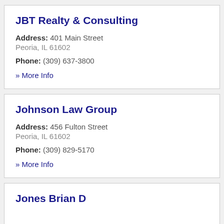JBT Realty & Consulting
Address: 401 Main Street
Peoria, IL 61602
Phone: (309) 637-3800
» More Info
Johnson Law Group
Address: 456 Fulton Street
Peoria, IL 61602
Phone: (309) 829-5170
» More Info
Jones Brian D